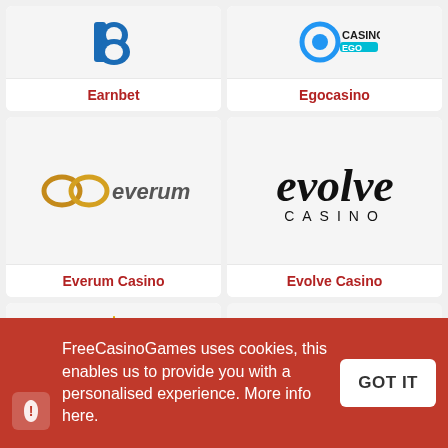[Figure (logo): Earnbet logo - blue stylized letter B]
Earnbet
[Figure (logo): Egocasino logo - blue and teal casino logo]
Egocasino
[Figure (logo): Everum Casino logo - orange infinity-like symbol with 'everum' text]
Everum Casino
[Figure (logo): Evolve Casino logo - black cursive 'evolve' with 'CASINO' below in caps]
Evolve Casino
[Figure (logo): Explo Casino logo - stylized text with star]
[Figure (logo): Extra Vegas Casino logo - cursive Vegas text with Extra badge]
FreeCasinoGames uses cookies, this enables us to provide you with a personalised experience. More info here.
GOT IT